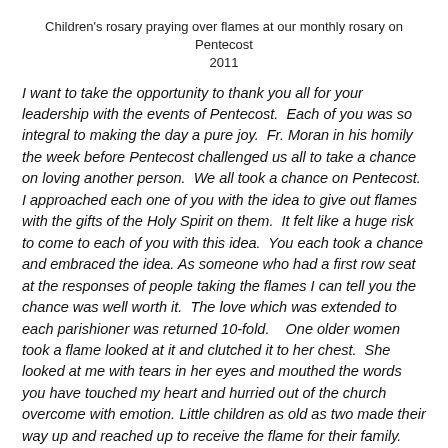Children's rosary praying over flames at our monthly rosary on Pentecost 2011
I want to take the opportunity to thank you all for your leadership with the events of Pentecost. Each of you was so integral to making the day a pure joy. Fr. Moran in his homily the week before Pentecost challenged us all to take a chance on loving another person. We all took a chance on Pentecost. I approached each one of you with the idea to give out flames with the gifts of the Holy Spirit on them. It felt like a huge risk to come to each of you with this idea. You each took a chance and embraced the idea. As someone who had a first row seat at the responses of people taking the flames I can tell you the chance was well worth it. The love which was extended to each parishioner was returned 10-fold. One older women took a flame looked at it and clutched it to her chest. She looked at me with tears in her eyes and mouthed the words you have touched my heart and hurried out of the church overcome with emotion. Little children as old as two made their way up and reached up to receive the flame for their family. An African American teenage boy quietly took a flame stood in